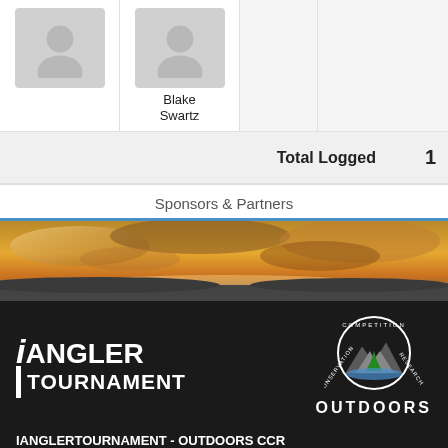| (avatar) | (avatar) Blake Swartz | (blank) | Open |
Total Logged   1
Sponsors & Partners
[Figure (photo): Sunset/sky panorama banner image with dramatic clouds and warm orange/yellow tones]
[Figure (logo): iAngler Tournament logo in white text on dark background, and Outdoors CCR circular logo with mountains and trees]
IANGLERTOURNAMENT - OUTDOORS CCR
iAnglerTournament - Outdoors CCR helps you run online competitions for fishing tournaments, hunting